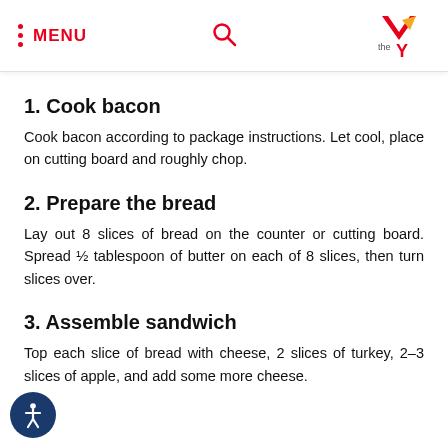MENU
1. Cook bacon
Cook bacon according to package instructions. Let cool, place on cutting board and roughly chop.
2. Prepare the bread
Lay out 8 slices of bread on the counter or cutting board. Spread ½ tablespoon of butter on each of 8 slices, then turn slices over.
3. Assemble sandwich
Top each slice of bread with cheese, 2 slices of turkey, 2–3 slices of apple, and add some more cheese.